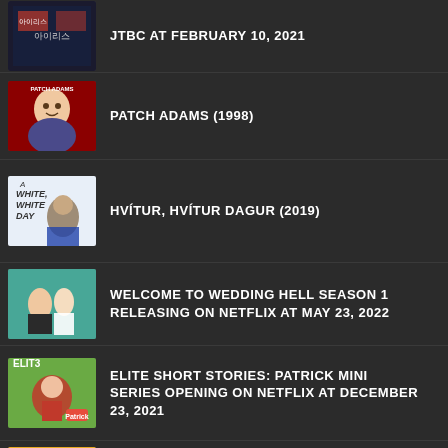JTBC AT FEBRUARY 10, 2021
PATCH ADAMS (1998)
HVÍTUR, HVÍTUR DAGUR (2019)
WELCOME TO WEDDING HELL SEASON 1 RELEASING ON NETFLIX AT MAY 23, 2022
ELITE SHORT STORIES: PATRICK MINI SERIES OPENING ON NETFLIX AT DECEMBER 23, 2021
MAYA AND THE THREE SEASON 1 OPENING AT